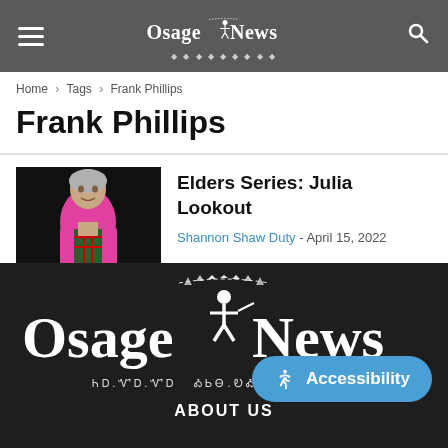Osage News
Home › Tags › Frank Phillips
Frank Phillips
[Figure (photo): Photo of a woman wearing a bright pink/magenta jacket with a plaid scarf, photographed against a dark background. Subject appears to be Julia Lookout.]
Elders Series: Julia Lookout
Shannon Shaw Duty - April 15, 2022
Osage News — ABOUT US — Accessibility